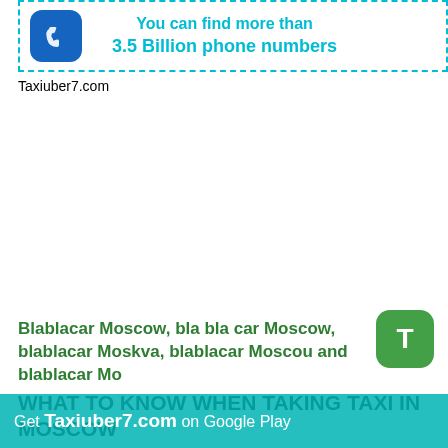[Figure (infographic): Cyan dashed border box with blue phone icon on left and cyan bold text: 'You can find more than 3.5 Billion phone numbers']
Taxiuber7.com
Blablacar Moscow, bla bla car Moscow, blablacar Moskva, blablacar Moscou and blablacar Mo
WHAT TO KNOW WHEN TAKING TAXI IN MOSCOW
Get Taxiuber7.com on Google Play